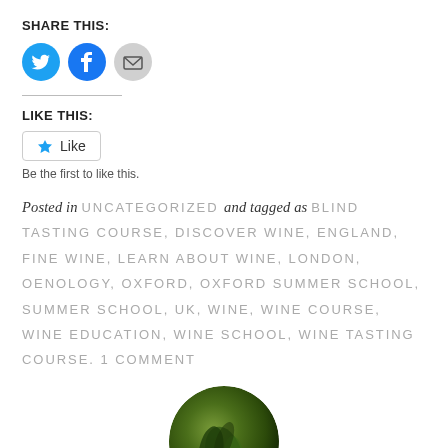SHARE THIS:
[Figure (infographic): Three social sharing icon buttons: Twitter (blue circle with bird icon), Facebook (blue circle with f icon), Email (grey circle with envelope icon)]
LIKE THIS:
[Figure (infographic): Like button with a blue star icon and the word Like]
Be the first to like this.
Posted in UNCATEGORIZED and tagged as BLIND TASTING COURSE, DISCOVER WINE, ENGLAND, FINE WINE, LEARN ABOUT WINE, LONDON, OENOLOGY, OXFORD, OXFORD SUMMER SCHOOL, SUMMER SCHOOL, UK, WINE, WINE COURSE, WINE EDUCATION, WINE SCHOOL, WINE TASTING COURSE. 1 COMMENT
[Figure (photo): Circular avatar image showing a dark green leafy plant or bird against a dark background, partially visible at bottom of page]